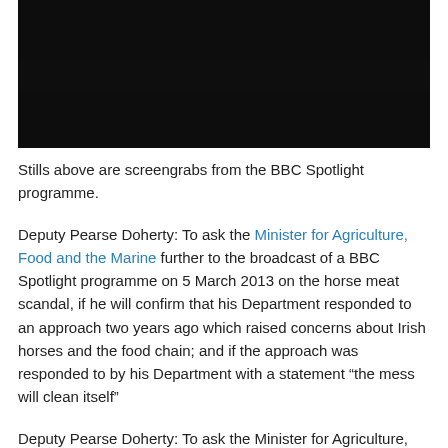[Figure (screenshot): Dark/black screenshot still from BBC Spotlight programme]
Stills above are screengrabs from the BBC Spotlight programme.
Deputy Pearse Doherty: To ask the Minister for Agriculture, Food and the Marine further to the broadcast of a BBC Spotlight programme on 5 March 2013 on the horse meat scandal, if he will confirm that his Department responded to an approach two years ago which raised concerns about Irish horses and the food chain; and if the approach was responded to by his Department with a statement “the mess will clean itself”
Deputy Pearse Doherty: To ask the Minister for Agriculture,